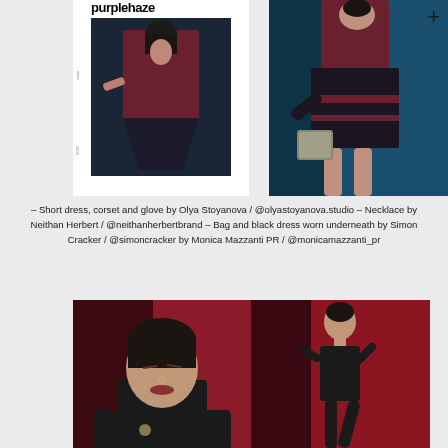[Figure (photo): Left: magazine cover of 'purplehaze' showing a model in a dark red/maroon dress against a dark background. Right: fashion photo of a model in a dark red top and layered black skirt/corset with gloves, holding a patterned bag, against a teal/blue background. A '+' symbol appears top right.]
– Short dress, corset and glove by Olya Stoyanova / @olyastoyanova.studio – Necklace by Neithan Herbert / @neithanherbertbrand – Bag and black dress worn underneath by Simon Cracker / @simoncracker by Monica Mazzanti PR / @monicamazzanti_pr
[Figure (photo): Two fashion photos side by side: left shows a close-up of a model with short dark hair, eyes closed, wearing a black top with red accents, against a red/burgundy background; right shows the same model in a full-body pose wearing a black outfit, against a red background.]